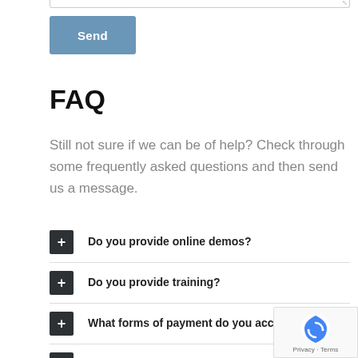FAQ
Still not sure if we can be of help? Check through some frequently asked questions and then send us a message.
+ Do you provide online demos?
+ Do you provide training?
+ What forms of payment do you accept?
+ Do you require contracts?